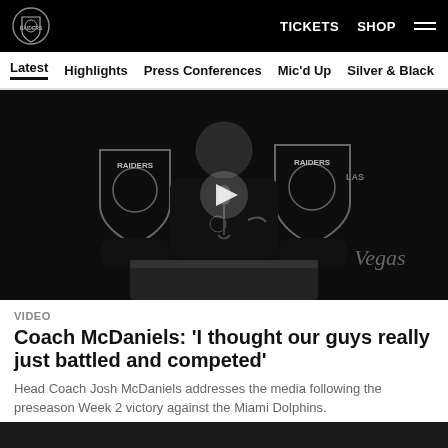Las Vegas Raiders | TICKETS  SHOP
Latest  Highlights  Press Conferences  Mic'd Up  Silver & Black
[Figure (screenshot): Press conference video thumbnail showing Head Coach Josh McDaniels at podium with Raiders logos in background and a play button overlay]
VIDEO
Coach McDaniels: 'I thought our guys really just battled and competed'
Head Coach Josh McDaniels addresses the media following the preseason Week 2 victory against the Miami Dolphins.